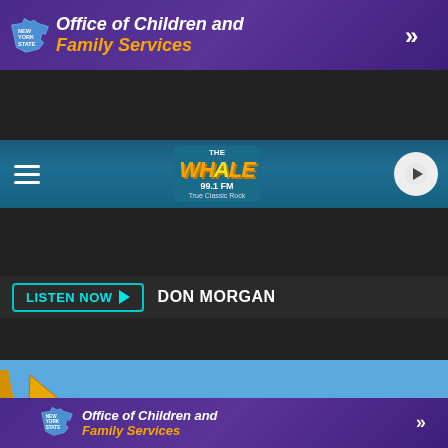[Figure (screenshot): Top purple banner advertisement for New York State Office of Children and Family Services with NY State logo and double chevron arrow]
[Figure (screenshot): Navigation bar with hamburger menu, The Whale 99.1 FM classic rock radio logo, and circular play button on teal/blue gradient background]
LISTEN NOW  DON MORGAN
[Figure (photo): Demolition scene showing a yellow excavator arm amid rubble of collapsed buildings under bright blue sky. Photo credit: Bob Joseph/WNBF News]
Photo: Bob Joseph/WNBF News
[Figure (screenshot): Bottom purple banner advertisement for New York State Office of Children and Family Services with NY State logo and double chevron arrow]